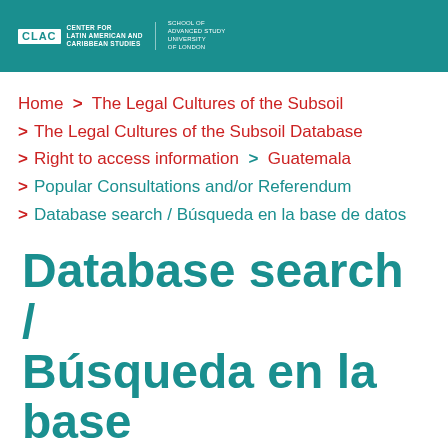CLAC | CENTER FOR LATIN AMERICAN AND CARIBBEAN STUDIES | SCHOOL OF ADVANCED STUDY UNIVERSITY OF LONDON
Home > The Legal Cultures of the Subsoil
> The Legal Cultures of the Subsoil Database
> Right to access information > Guatemala
> Popular Consultations and/or Referendum
> Database search / Búsqueda en la base de datos
Database search / Búsqueda en la base de datos